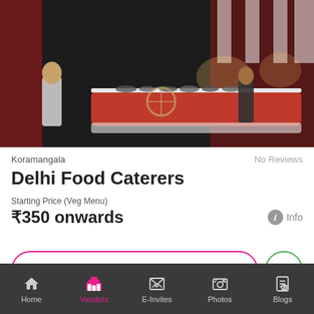[Figure (photo): Photo of a catering buffet setup at night with red and white striped decor, food stations, serving staff, and outdoor venue lighting]
Koramangala
No Reviews
Delhi Food Caterers
Starting Price (Veg Menu)
₹350 onwards
Info
Send Message
Home  Vendors  E-Invites  Photos  Blogs